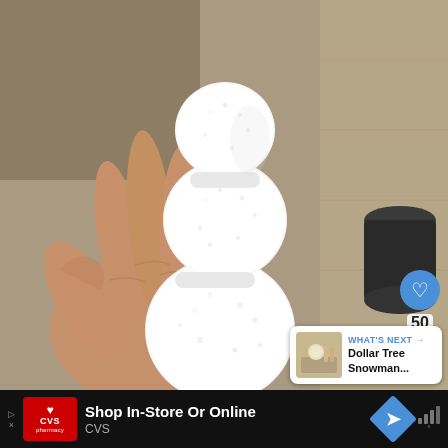[Figure (photo): A hand holding a foam snowman shape made of three stacked polystyrene balls (small, medium, large from top to bottom), held vertically. Background shows a wooden surface and a dark cylindrical container. Right side shows UI elements: a blue heart button, '50' like count, and a share button. A 'WHAT'S NEXT' card in bottom-right shows a thumbnail and text 'Dollar Tree Snowman...']
WHAT'S NEXT → Dollar Tree Snowman...
Shop In-Store Or Online
CVS